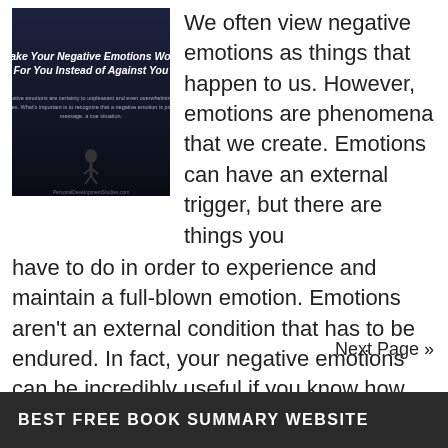[Figure (illustration): Dark-themed book cover image titled 'Make Your Negative Emotions Work For You Instead of Against You' with subtitle text and a small figure at bottom, website URL at bottom.]
We often view negative emotions as things that happen to us. However, emotions are phenomena that we create. Emotions can have an external trigger, but there are things you have to do in order to experience and maintain a full-blown emotion. Emotions aren't an external condition that has to be endured. In fact, your negative emotions can be incredibly useful if you know how … [Read more...]
Next Page »
BEST FREE BOOK SUMMARY WEBSITE